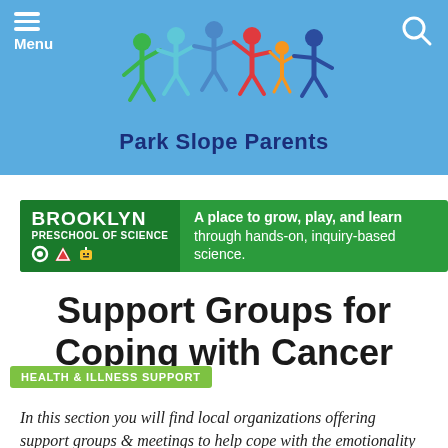[Figure (logo): Park Slope Parents website header with navigation menu icon, colorful paper-chain people figures logo, site name 'Park Slope Parents', and search icon on blue background]
[Figure (illustration): Brooklyn Preschool of Science advertisement banner — green background with logo icons and text: 'A place to grow, play, and learn through hands-on, inquiry-based science.']
Support Groups for Coping with Cancer
HEALTH & ILLNESS SUPPORT
In this section you will find local organizations offering support groups & meetings to help cope with the emotionality of cancer. If you know of any more to add to